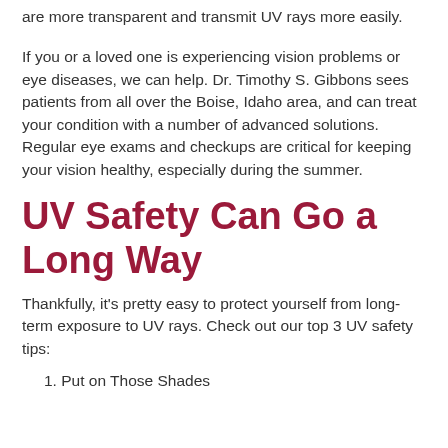are more transparent and transmit UV rays more easily.
If you or a loved one is experiencing vision problems or eye diseases, we can help. Dr. Timothy S. Gibbons sees patients from all over the Boise, Idaho area, and can treat your condition with a number of advanced solutions. Regular eye exams and checkups are critical for keeping your vision healthy, especially during the summer.
UV Safety Can Go a Long Way
Thankfully, it's pretty easy to protect yourself from long-term exposure to UV rays. Check out our top 3 UV safety tips:
1. Put on Those Shades